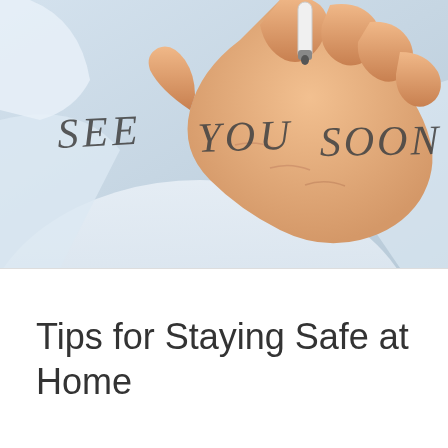[Figure (photo): A person in a white coat holding a marker, writing 'SEE YOU SOON' on a glass surface. The background is light blue-grey.]
Tips for Staying Safe at Home